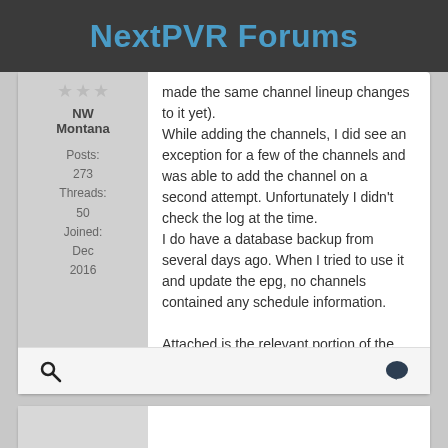NextPVR Forums
NW Montana
Posts: 273
Threads: 50
Joined: Dec 2016
made the same channel lineup changes to it yet).
While adding the channels, I did see an exception for a few of the channels and was able to add the channel on a second attempt. Unfortunately I didn't check the log at the time.
I do have a database backup from several days ago. When I tried to use it and update the epg, no channels contained any schedule information.

Attached is the relevant portion of the log file.